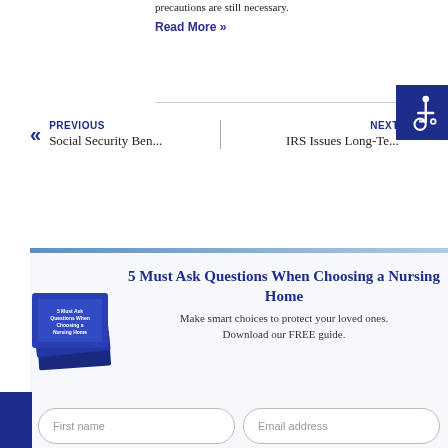precautions are still necessary.
Read More »
[Figure (illustration): Accessibility icon: white wheelchair symbol on dark blue background]
PREVIOUS
Social Security Ben...
NEXT
IRS Issues Long-Te...
5 Must Ask Questions When Choosing a Nursing Home
[Figure (photo): Stack of blue books titled '5 Must Ask Questions When Choosing a Nursing Home']
Make smart choices to protect your loved ones.

Download our FREE guide.
First name
Email address